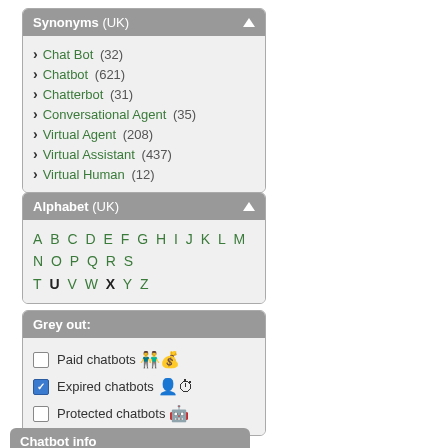Synonyms (UK)
Chat Bot (32)
Chatbot (621)
Chatterbot (31)
Conversational Agent (35)
Virtual Agent (208)
Virtual Assistant (437)
Virtual Human (12)
Alphabet (UK)
A B C D E F G H I J K L M N O P Q R S T U V W X Y Z
Grey out:
Paid chatbots
Expired chatbots
Protected chatbots
Chatbot info